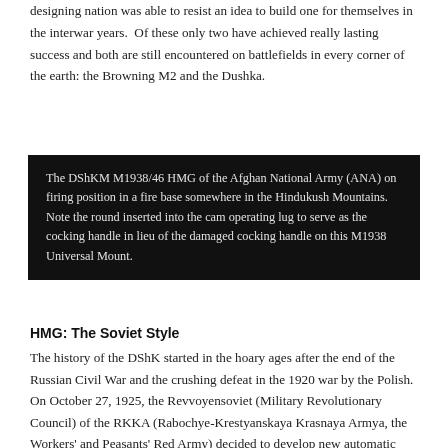designing nation was able to resist an idea to build one for themselves in the interwar years.  Of these only two have achieved really lasting success and both are still encountered on battlefields in every corner of the earth: the Browning M2 and the Dushka.
[Figure (other): Black box caption area for a photograph: The DShKM M1938/46 HMG of the Afghan National Army (ANA) on firing position in a fire base somewhere in the Hindukush Mountains. Note the round inserted into the cam operating lug to serve as the cocking handle in lieu of the damaged cocking handle on this M1938 Universal Mount.]
HMG: The Soviet Style
The history of the DShK started in the hoary ages after the end of the Russian Civil War and the crushing defeat in the 1920 war by the Polish.  On October 27, 1925, the Revvoyensoviet (Military Revolutionary Council) of the RKKA (Rabochye-Krestyanskaya Krasnaya Armya, the Workers' and Peasants' Red Army) decided to develop new automatic weapons, chambered in calibers between 12 and 20mm.  Having reached that conclusion, the Revvoyensoviet ordered the Artkom GAU (Artillery Committee of the Main Artillery Directorate) to prepare the